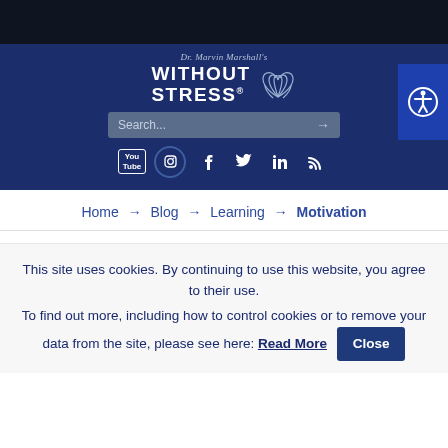[Figure (logo): Dr. Marvin Marshall's Without Stress logo with lotus flower icon on dark navy background]
Search...
[Figure (infographic): Social media icons: YouTube, Instagram, Facebook, Twitter, LinkedIn, RSS feed]
Home → Blog → Learning → Motivation
This site uses cookies. By continuing to use this website, you agree to their use.
To find out more, including how to control cookies or to remove your data from the site, please see here: Read More
Close